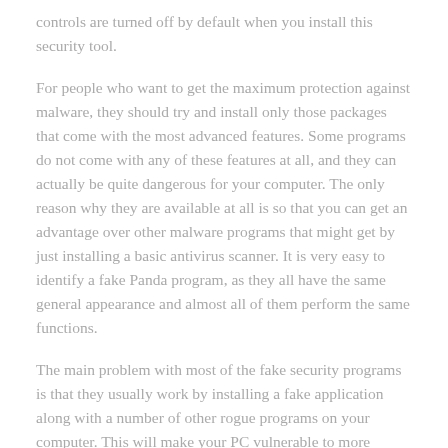controls are turned off by default when you install this security tool.
For people who want to get the maximum protection against malware, they should try and install only those packages that come with the most advanced features. Some programs do not come with any of these features at all, and they can actually be quite dangerous for your computer. The only reason why they are available at all is so that you can get an advantage over other malware programs that might get by just installing a basic antivirus scanner. It is very easy to identify a fake Panda program, as they all have the same general appearance and almost all of them perform the same functions.
The main problem with most of the fake security programs is that they usually work by installing a fake application along with a number of other rogue programs on your computer. This will make your PC vulnerable to more malware as it tries to load additional malicious codes onto your PC. If you want to get rid of the problem as soon as possible, you need to use a program that has the real spyware removal capabilities. There are many different software programs out there that are able to get rid of the most problems that your Panda internet browser may